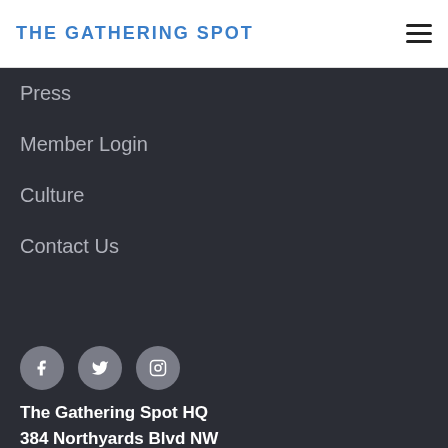THE GATHERING SPOT
Press
Member Login
Culture
Contact Us
[Figure (illustration): Social media icons: Facebook, Twitter, Instagram in grey circles]
The Gathering Spot HQ
384 Northyards Blvd NW
Building 100, Suite 190
Atlanta, GA 30313